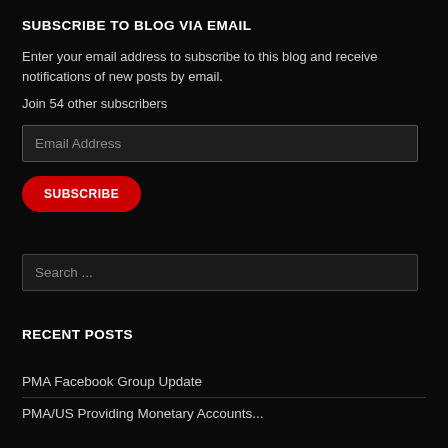SUBSCRIBE TO BLOG VIA EMAIL
Enter your email address to subscribe to this blog and receive notifications of new posts by email.
Join 54 other subscribers
Email Address
SUBSCRIBE
Search ...
RECENT POSTS
PMA Facebook Group Update
PMA/US Providing Monetary Accounts...